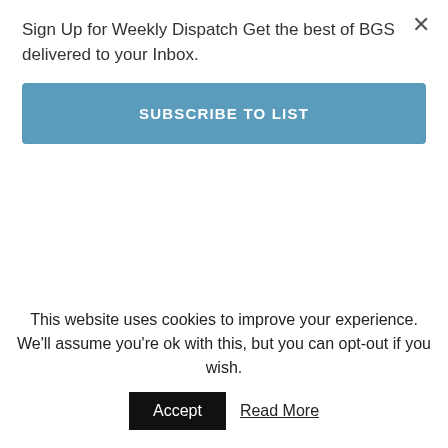Sign Up for Weekly Dispatch Get the best of BGS delivered to your Inbox.
SUBSCRIBE TO LIST
shit up to have fun, as long as you clean it up.
[Figure (other): White rectangular image placeholder area]
This website uses cookies to improve your experience. We'll assume you're ok with this, but you can opt-out if you wish.
Accept
Read More